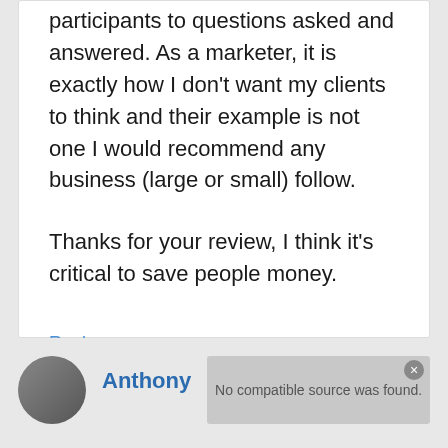participants to questions asked and answered. As a marketer, it is exactly how I don't want my clients to think and their example is not one I would recommend any business (large or small) follow.

Thanks for your review, I think it's critical to save people money.
Reply
Anthony
No compatible source was found.